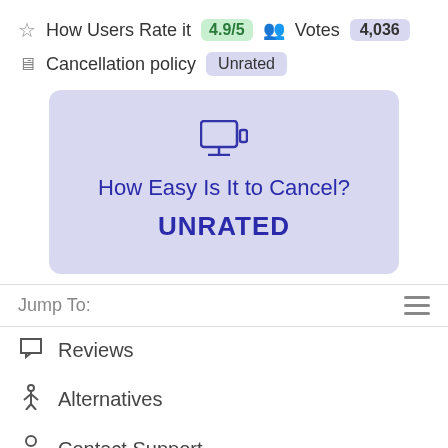How Users Rate it 4.9/5 Votes 4,036
Cancellation policy Unrated
[Figure (infographic): Blue-purple card with device icon, text 'How Easy Is It to Cancel?' and 'UNRATED']
Jump To:
Reviews
Alternatives
Contact Support